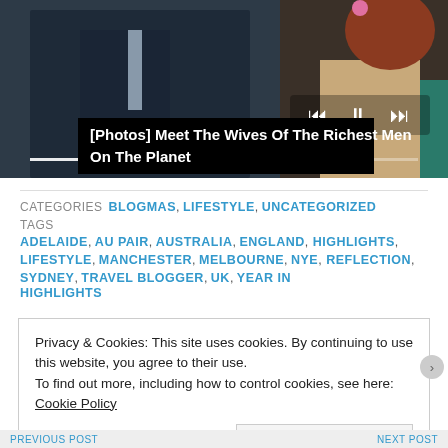[Figure (photo): Photo of a man in a dark suit and a woman with reddish hair, with media player controls overlay and a progress bar. Overlay text: [Photos] Meet The Wives Of The Richest Men On The Planet]
[Photos] Meet The Wives Of The Richest Men On The Planet
CATEGORIES  BLOGMAS, LIFESTYLE, UNCATEGORIZED
TAGS  ADELAIDE, AU PAIR, AUSTRALIA, ENGLAND, HIGHLIGHTS, LIFESTYLE, MANCHESTER, MELBOURNE, NYE, REFLECTION, SYDNEY, TRAVEL BLOGGER, UK, YEAR IN HIGHLIGHTS
Privacy & Cookies: This site uses cookies. By continuing to use this website, you agree to their use.
To find out more, including how to control cookies, see here: Cookie Policy